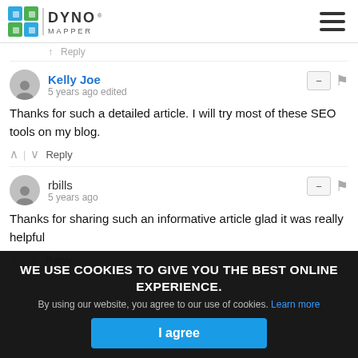[Figure (logo): Dyno Mapper logo with blue/green icon and hamburger menu icon on the right]
↑ Reply (stub, partial, top of page)
Kelly Joe
5 years ago edited

Thanks for such a detailed article. I will try most of these SEO tools on my blog.
rbills
5 years ago

Thanks for sharing such an informative article glad it was really helpful
WE USE COOKIES TO GIVE YOU THE BEST ONLINE EXPERIENCE.
By using our website, you agree to our use of cookies. Learn more
I agree